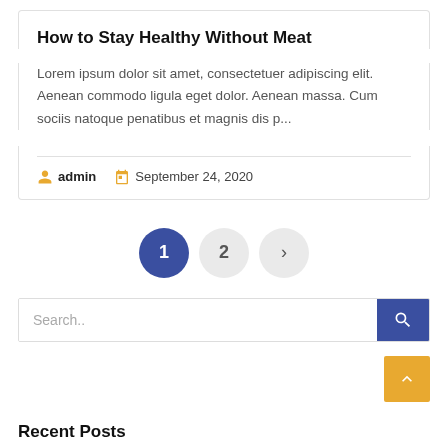How to Stay Healthy Without Meat
Lorem ipsum dolor sit amet, consectetuer adipiscing elit. Aenean commodo ligula eget dolor. Aenean massa. Cum sociis natoque penatibus et magnis dis p...
admin   September 24, 2020
[Figure (other): Pagination controls with page 1 active (dark blue circle), page 2 and next arrow in light grey circles]
Search..
Recent Posts